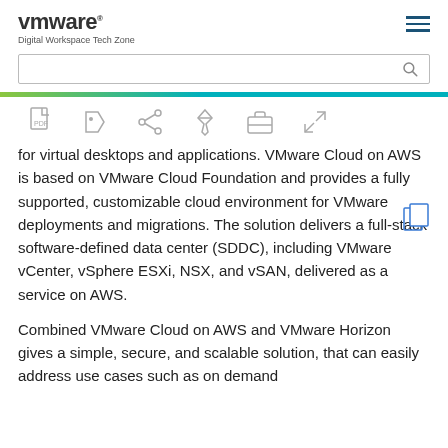vmware Digital Workspace Tech Zone
[Figure (screenshot): Search bar input field with magnifying glass icon]
[Figure (infographic): Toolbar with icons: PDF, tag, share, pin, briefcase, expand]
for virtual desktops and applications. VMware Cloud on AWS is based on VMware Cloud Foundation and provides a fully supported, customizable cloud environment for VMware deployments and migrations. The solution delivers a full-stack software-defined data center (SDDC), including VMware vCenter, vSphere ESXi, NSX, and vSAN, delivered as a service on AWS.
Combined VMware Cloud on AWS and VMware Horizon gives a simple, secure, and scalable solution, that can easily address use cases such as on demand